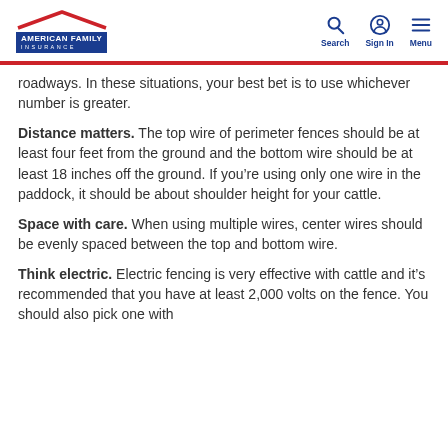American Family Insurance — Search | Sign In | Menu
roadways. In these situations, your best bet is to use whichever number is greater.
Distance matters. The top wire of perimeter fences should be at least four feet from the ground and the bottom wire should be at least 18 inches off the ground. If you're using only one wire in the paddock, it should be about shoulder height for your cattle.
Space with care. When using multiple wires, center wires should be evenly spaced between the top and bottom wire.
Think electric. Electric fencing is very effective with cattle and it's recommended that you have at least 2,000 volts on the fence. You should also pick one with